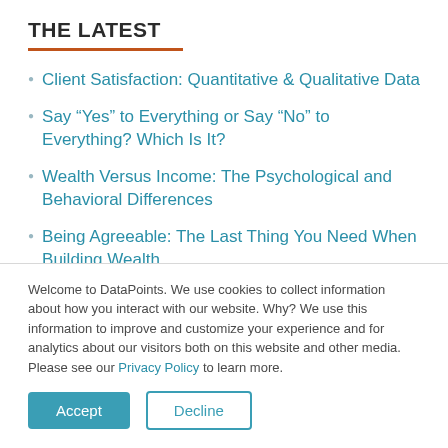THE LATEST
Client Satisfaction: Quantitative & Qualitative Data
Say “Yes” to Everything or Say “No” to Everything? Which Is It?
Wealth Versus Income: The Psychological and Behavioral Differences
Being Agreeable: The Last Thing You Need When Building Wealth
Welcome to DataPoints. We use cookies to collect information about how you interact with our website. Why? We use this information to improve and customize your experience and for analytics about our visitors both on this website and other media. Please see our Privacy Policy to learn more.